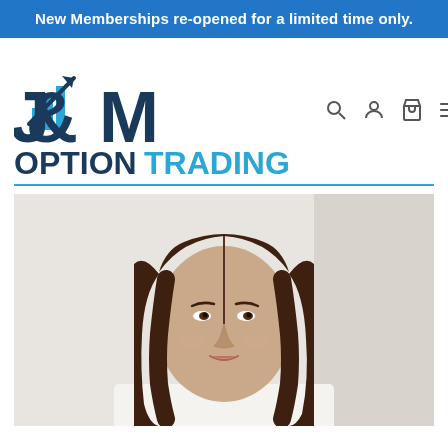New Memberships re-opened for a limited time only.
[Figure (logo): J&M Option Trading logo with upward arrow and bar chart graphic, dark navy blue text with cyan accent]
[Figure (photo): Portrait photo of a young woman with long dark brown hair against a light grey/white background, wearing a white top]